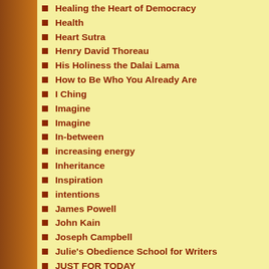Healing the Heart of Democracy
Health
Heart Sutra
Henry David Thoreau
His Holiness the Dalai Lama
How to Be Who You Already Are
I Ching
Imagine
Imagine
In-between
increasing energy
Inheritance
Inspiration
intentions
James Powell
John Kain
Joseph Campbell
Julie's Obedience School for Writers
JUST FOR TODAY
Keep It Simple
Knowing what you want
Labyrinth